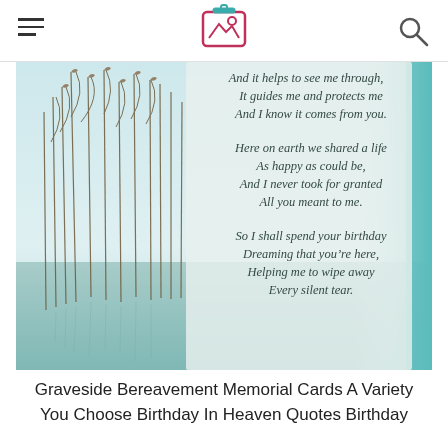[hamburger menu] [logo image icon] [search icon]
[Figure (photo): A greeting card image showing tall grasses/reeds reflected in water with a misty background. Overlaid poem text reads: 'And it helps to see me through, It guides me and protects me And I know it comes from you. Here on earth we shared a life As happy as could be, And I never took for granted All you meant to me. So I shall spend your birthday Dreaming that you're here, Helping me to wipe away Every silent tear.']
Graveside Bereavement Memorial Cards A Variety You Choose Birthday In Heaven Quotes Birthday